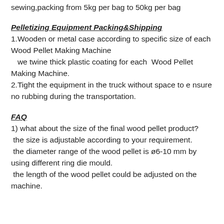sewing,packing from 5kg per bag to 50kg per bag
Pelletizing Equipment Packing&Shipping
1.Wooden or metal case according to specific size of each Wood Pellet Making Machine
   we twine thick plastic coating for each  Wood Pellet Making Machine.
2.Tight the equipment in the truck without space to ensure no rubbing during the transportation.
FAQ
1) what about the size of the final wood pellet product?
 the size is adjustable according to your requirement.
 the diameter range of the wood pellet is ø6-10 mm by using different ring die mould.
 the length of the wood pellet could be adjusted on the machine.